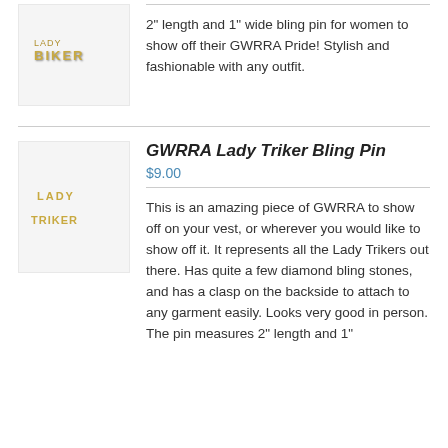[Figure (photo): Image of a biker bling pin with rhinestones spelling BIKER]
2" length and 1" wide bling pin for women to show off their GWRRA Pride! Stylish and fashionable with any outfit.
[Figure (photo): Image of a Lady Triker bling pin with rhinestones]
GWRRA Lady Triker Bling Pin
$9.00
This is an amazing piece of GWRRA to show off on your vest, or wherever you would like to show off it.  It represents all the Lady Trikers out there.    Has quite a few diamond bling stones, and has a clasp on the backside to attach to any garment easily.  Looks very good in person. The pin measures 2" length and 1"